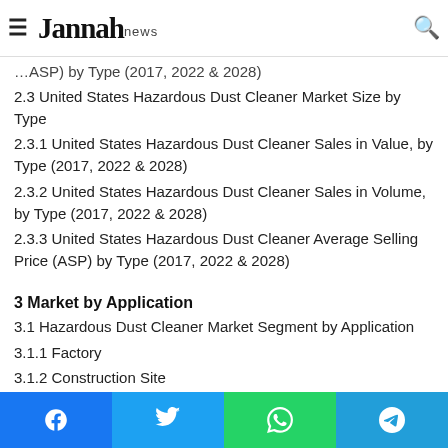Jannah news
2.3 United States Hazardous Dust Cleaner Market Size by Type
2.3.1 United States Hazardous Dust Cleaner Sales in Value, by Type (2017, 2022 & 2028)
2.3.2 United States Hazardous Dust Cleaner Sales in Volume, by Type (2017, 2022 & 2028)
2.3.3 United States Hazardous Dust Cleaner Average Selling Price (ASP) by Type (2017, 2022 & 2028)
3 Market by Application
3.1 Hazardous Dust Cleaner Market Segment by Application
3.1.1 Factory
3.1.2 Construction Site
3.1.3 Closed Workshop
3.1.4 Laboratory